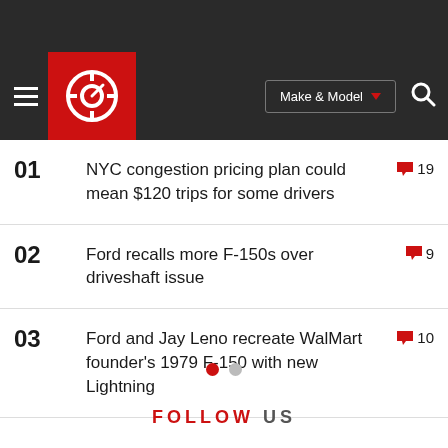[Figure (logo): Autoblog logo — red square with white circular gauge icon]
01 NYC congestion pricing plan could mean $120 trips for some drivers [19 comments]
02 Ford recalls more F-150s over driveshaft issue [9 comments]
03 Ford and Jay Leno recreate WalMart founder's 1979 F-150 with new Lightning [10 comments]
FOLLOW US